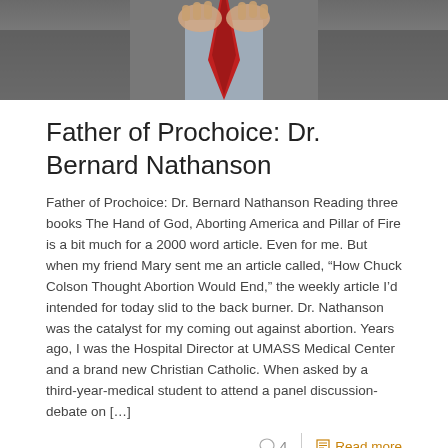[Figure (photo): Close-up photo of a man in a suit adjusting a red tie, hands visible against a grey jacket]
Father of Prochoice: Dr. Bernard Nathanson
Father of Prochoice: Dr. Bernard Nathanson Reading three books The Hand of God, Aborting America and Pillar of Fire is a bit much for a 2000 word article. Even for me. But when my friend Mary sent me an article called, “How Chuck Colson Thought Abortion Would End,” the weekly article I’d intended for today slid to the back burner. Dr. Nathanson was the catalyst for my coming out against abortion. Years ago, I was the Hospital Director at UMASS Medical Center and a brand new Christian Catholic. When asked by a third-year-medical student to attend a panel discussion-debate on […]
○ 4  ≡ Read more
[Figure (photo): Outdoor nature photo with blurred green trees and foliage in the background]